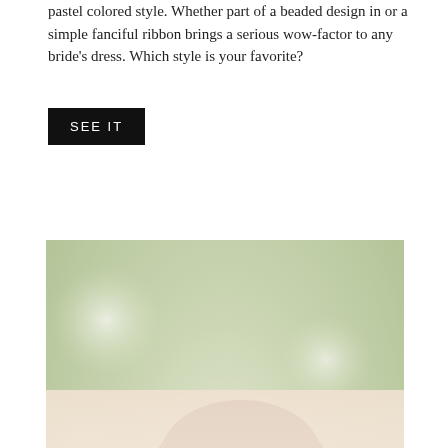pastel colored style. Whether part of a beaded design in or a simple fanciful ribbon brings a serious wow-factor to any bride's dress. Which style is your favorite?
SEE IT
[Figure (photo): A bride with auburn hair in an updo adorned with a floral hair accessory/headband with small white flowers and pearls. She is looking downward, wearing a strapless light pink/blush dress and holding what appears to be a book or tablet. The background is soft and blurred with light green foliage.]